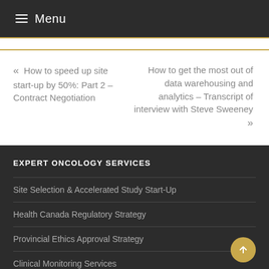≡ Menu
« How to speed up site start-up by 50%: Part 2 – Contract Negotiation
How to get the most out of data warehousing and analytics – Transcript of interview with Steve Sweeney »
EXPERT ONCOLOGY SERVICES
Site Selection & Accelerated Study Start-Up
Health Canada Regulatory Strategy
Provincial Ethics Approval Strategy
Clinical Monitoring Services